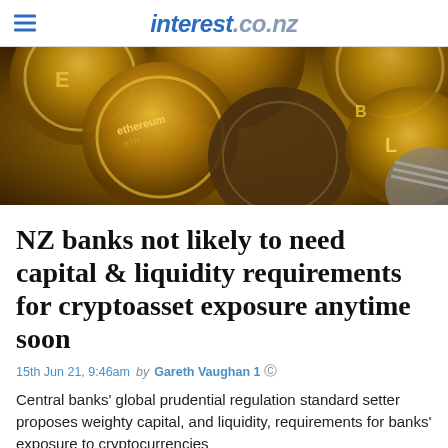interest.co.nz
[Figure (photo): Close-up photo of multiple gold and silver cryptocurrency coins including Ethereum and Bitcoin coins stacked together]
NZ banks not likely to need capital & liquidity requirements for cryptoasset exposure anytime soon
15th Jun 21, 9:46am by Gareth Vaughan 1
Central banks' global prudential regulation standard setter proposes weighty capital, and liquidity, requirements for banks' exposure to cryptocurrencies
[Figure (logo): ANZ bank logo with teal/blue color and stylized person icon]